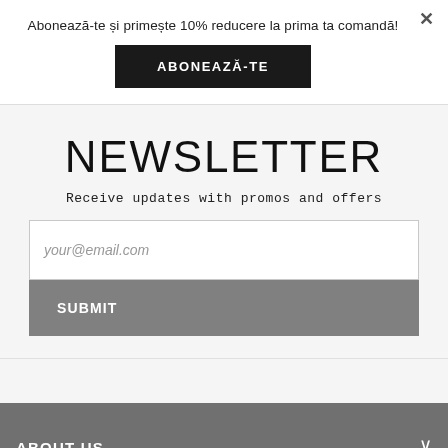Abonează-te și primește 10% reducere la prima ta comandă!
ABONEAZĂ-TE
NEWSLETTER
Receive updates with promos and offers
your@email.com
SUBMIT
ABOUT US